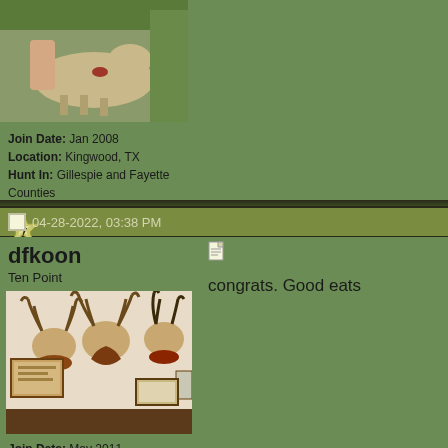[Figure (photo): User avatar photo showing a deer lying down with a person partially visible]
Join Date: Jan 2008
Location: Kingwood, TX
Hunt In: Gillespie and Fayette Counties
[Figure (logo): Small lightning bolt badge icon]
04-28-2022, 03:38 PM
dfkoon
Ten Point
[Figure (photo): Photo of multiple deer head mounts on a wall with framed pictures]
Join Date: May 2011
Location: Arlington/Texoma
Hunt In: Colemane, OK / Hagermann when lucky
[Figure (logo): Small badge icon]
[Figure (other): Small document/note icon in post content area]
congrats. Good eats